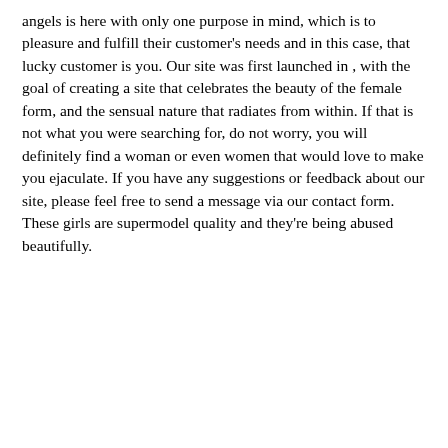angels is here with only one purpose in mind, which is to pleasure and fulfill their customer's needs and in this case, that lucky customer is you. Our site was first launched in , with the goal of creating a site that celebrates the beauty of the female form, and the sensual nature that radiates from within. If that is not what you were searching for, do not worry, you will definitely find a woman or even women that would love to make you ejaculate. If you have any suggestions or feedback about our site, please feel free to send a message via our contact form. These girls are supermodel quality and they're being abused beautifully.